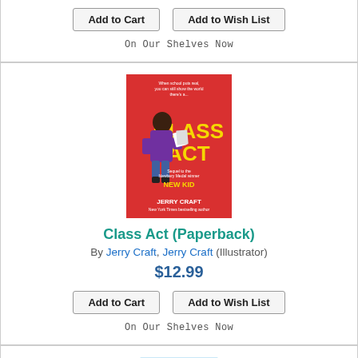Add to Cart | Add to Wish List
On Our Shelves Now
[Figure (photo): Book cover of 'Class Act' by Jerry Craft — red background with cartoon illustration of a Black boy in a purple hoodie holding papers, yellow title text 'CLASS ACT', sequel to New Kid]
Class Act (Paperback)
By Jerry Craft, Jerry Craft (Illustrator)
$12.99
Add to Cart | Add to Wish List
On Our Shelves Now
[Figure (photo): Partial book cover of 'The Mysterious Benedict Society: Perilous Journey' — blue illustrated cover, partially visible at bottom of page]